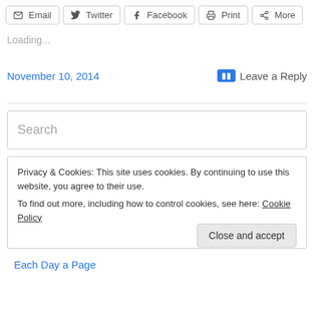Email  Twitter  Facebook  Print  More
Loading...
November 10, 2014    Leave a Reply
Search
Privacy & Cookies: This site uses cookies. By continuing to use this website, you agree to their use. To find out more, including how to control cookies, see here: Cookie Policy   Close and accept
Each Day a Page